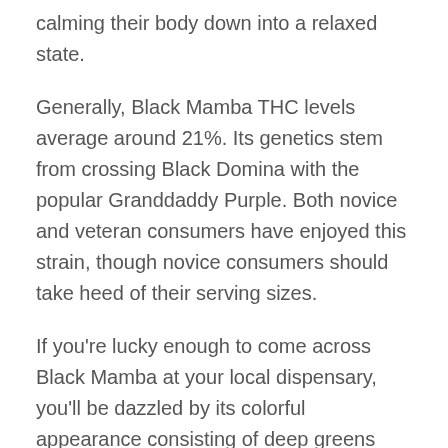calming their body down into a relaxed state.
Generally, Black Mamba THC levels average around 21%. Its genetics stem from crossing Black Domina with the popular Granddaddy Purple. Both novice and veteran consumers have enjoyed this strain, though novice consumers should take heed of their serving sizes.
If you're lucky enough to come across Black Mamba at your local dispensary, you'll be dazzled by its colorful appearance consisting of deep greens and purples. Its colors should be dark and bordering black when seen out of the corner of your eye. Its scent is skunky but sweet, containing hints of berries such as grapes. Both the inhale and exhale have been known to be very smooth, so anyone that has a sensitive throat or lungs will be happy to note this strain's smoke isn't harsh.
Related strains